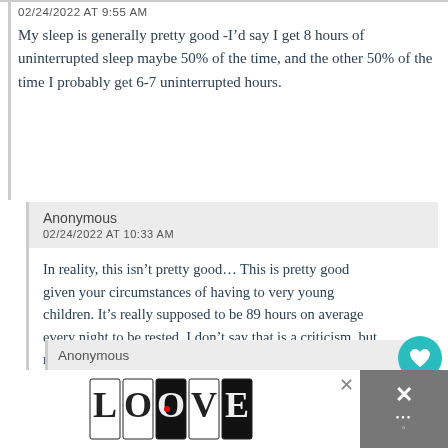02/24/2022 AT 9:55 AM
My sleep is generally pretty good -I’d say I get 8 hours of uninterrupted sleep maybe 50% of the time, and the other 50% of the time I probably get 6-7 uninterrupted hours.
Anonymous
02/24/2022 AT 10:33 AM
In reality, this isn’t pretty good… This is pretty good given your circumstances of having to very young children. It’s really supposed to be 89 hours on average every night to be rested. I don’t say that is a criticism, but rather to suggest that you might be swimming upstream if sleep is really what you need.
Anonymous